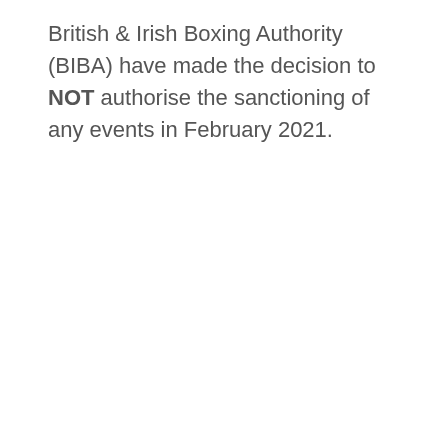British & Irish Boxing Authority (BIBA) have made the decision to NOT authorise the sanctioning of any events in February 2021.